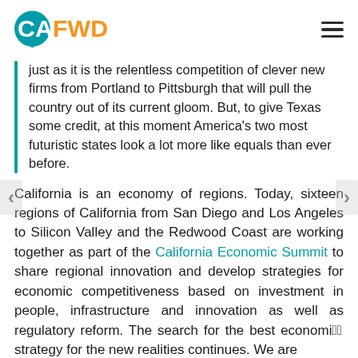CAFWD
just as it is the relentless competition of clever new firms from Portland to Pittsburgh that will pull the country out of its current gloom. But, to give Texas some credit, at this moment America’s two most futuristic states look a lot more like equals than ever before.
California is an economy of regions. Today, sixteen regions of California from San Diego and Los Angeles to Silicon Valley and the Redwood Coast are working together as part of the California Economic Summit to share regional innovation and develop strategies for economic competitiveness based on investment in people, infrastructure and innovation as well as regulatory reform. The search for the best economic strategy for the new realities continues. We are